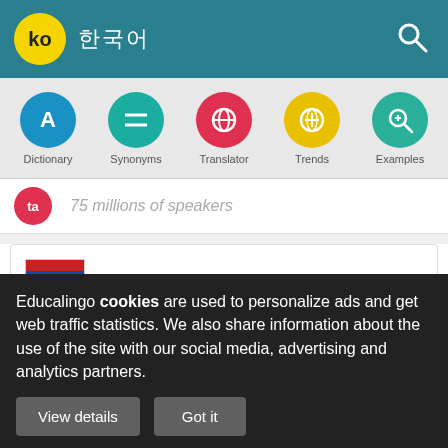ko 코리안
[Figure (screenshot): Navigation menu with icons: Dictionary, Synonyms, Translator, Trends, Examples]
75 millions of speakers
Translator Korean - Marathi
lang 마라티어 언어
Educalingo cookies are used to personalize ads and get web traffic statistics. We also share information about the use of the site with our social media, advertising and analytics partners.
View details | Got it